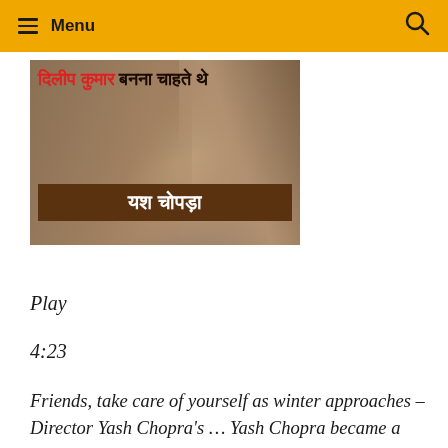Menu
[Figure (photo): Thumbnail image with Hindi text overlay: दिलीप कुमार बनना चाहते थे यश चोपड़ा. Shows older person in brownish clothing.]
Play
4:23
Friends, take care of yourself as winter approaches – Director Yash Chopra's … Yash Chopra became a hero when he came into the